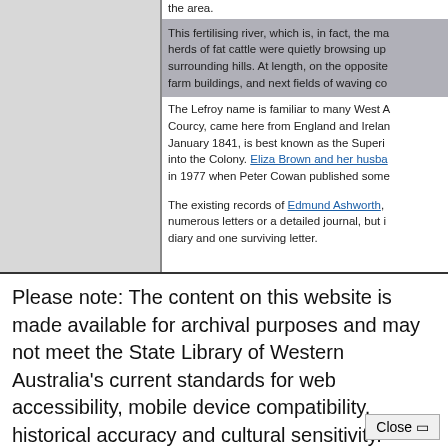the area.
This fertilising river, which is, in fact, the ma herds of fat cattle were quietly browsing up surrounding hills. At length, on the opposite farm buildings, and next fields of waving co
The Lefroy name is familiar to many West A Courcy, came here from England and Irelan January 1841, is best known as the Superi into the Colony. Eliza Brown and her husba in 1977 when Peter Cowan published some
The existing records of Edmund Ashworth, numerous letters or a detailed journal, but i diary and one surviving letter.
Please note: The content on this website is made available for archival purposes and may not meet the State Library of Western Australia's current standards for web accessibility, mobile device compatibility, historical accuracy and cultural sensitivity.